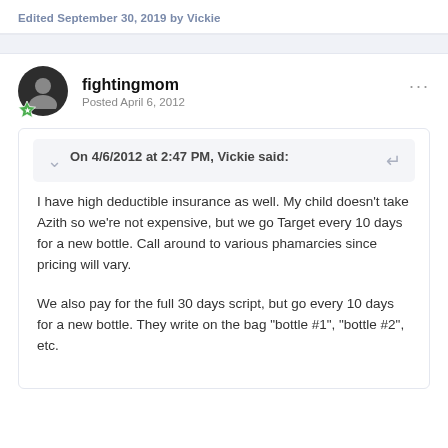Edited September 30, 2019 by Vickie
fightingmom
Posted April 6, 2012
On 4/6/2012 at 2:47 PM, Vickie said:
I have high deductible insurance as well. My child doesn't take Azith so we're not expensive, but we go Target every 10 days for a new bottle. Call around to various phamarcies since pricing will vary.
We also pay for the full 30 days script, but go every 10 days for a new bottle. They write on the bag "bottle #1", "bottle #2", etc.